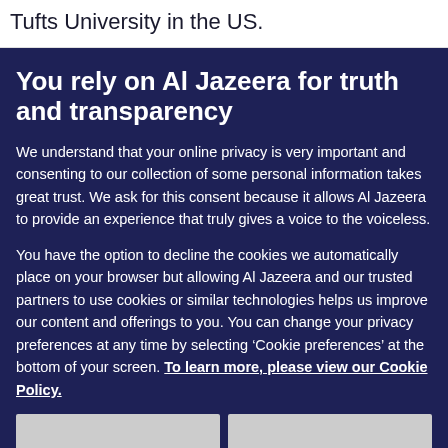Tufts University in the US.
You rely on Al Jazeera for truth and transparency
We understand that your online privacy is very important and consenting to our collection of some personal information takes great trust. We ask for this consent because it allows Al Jazeera to provide an experience that truly gives a voice to the voiceless.
You have the option to decline the cookies we automatically place on your browser but allowing Al Jazeera and our trusted partners to use cookies or similar technologies helps us improve our content and offerings to you. You can change your privacy preferences at any time by selecting ‘Cookie preferences’ at the bottom of your screen. To learn more, please view our Cookie Policy.